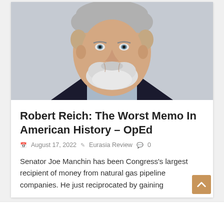[Figure (photo): Portrait photograph of Robert Reich, an older man with grey and white hair and beard, blue eyes, wearing a dark suit jacket and light blue shirt, photographed against a light grey background.]
Robert Reich: The Worst Memo In American History – OpEd
August 17, 2022   Eurasia Review   0
Senator Joe Manchin has been Congress's largest recipient of money from natural gas pipeline companies. He just reciprocated by gaining